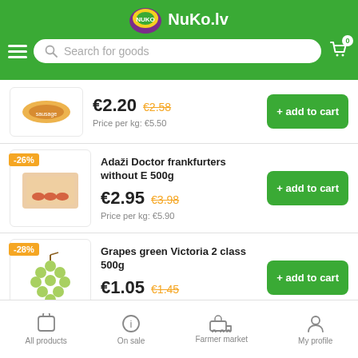NuKo.lv — Search for goods header with cart icon
€2.20  €2.58  Price per kg: €5.50
Adaži Doctor frankfurters without E 500g  -26%  €2.95  €3.98  Price per kg: €5.90
Grapes green Victoria 2 class 500g  -28%  €1.05  €1.45  Price per kg: €2.10
All products  On sale  Farmer market  My profile